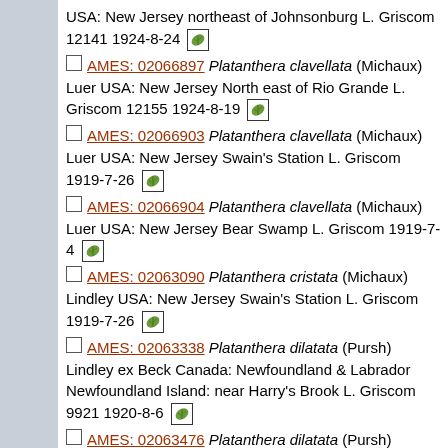USA: New Jersey northeast of Johnsonburg L. Griscom 12141 1924-8-24 [leaf icon]
AMES: 02066897 Platanthera clavellata (Michaux) Luer USA: New Jersey North east of Rio Grande L. Griscom 12155 1924-8-19 [leaf icon]
AMES: 02066903 Platanthera clavellata (Michaux) Luer USA: New Jersey Swain's Station L. Griscom 1919-7-26 [leaf icon]
AMES: 02066904 Platanthera clavellata (Michaux) Luer USA: New Jersey Bear Swamp L. Griscom 1919-7-4 [leaf icon]
AMES: 02063090 Platanthera cristata (Michaux) Lindley USA: New Jersey Swain's Station L. Griscom 1919-7-26 [leaf icon]
AMES: 02063338 Platanthera dilatata (Pursh) Lindley ex Beck Canada: Newfoundland & Labrador Newfoundland Island: near Harry's Brook L. Griscom 9921 1920-8-6 [leaf icon]
AMES: 02063476 Platanthera dilatata (Pursh) Lindley ex Beck Canada: Newfoundland & Labrador Newfoundland Island: Howard's Brook L. Griscom 1920-8-6 [leaf icon]
AMES: 01062668 Platanthera dilatata dilatata USA: Vermont Chittenden: Chittenden L. Griscom 3762 1916-8-7 [leaf icon]